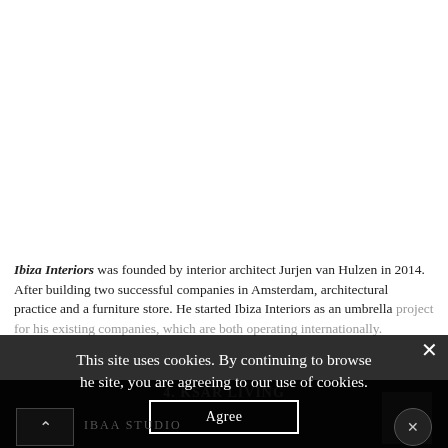Ibiza Interiors was founded by interior architect Jurjen van Hulzen in 2014. After building two successful companies in Amsterdam, architectural practice and a furniture store. He started Ibiza Interiors as an umbrella project for his existing companies, which are both operating internationally.
4. KSAR LIVING
This site uses cookies. By continuing to browse the site, you are agreeing to our use of cookies.
Agree